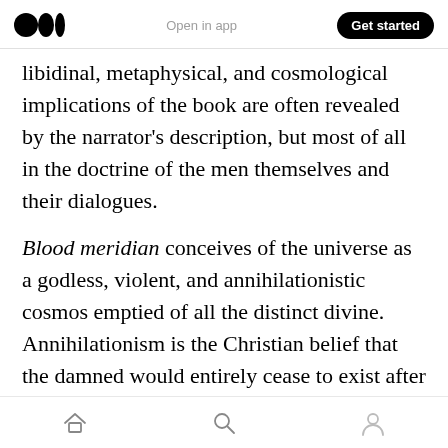Open in app | Get started
libidinal, metaphysical, and cosmological implications of the book are often revealed by the narrator's description, but most of all in the doctrine of the men themselves and their dialogues.
Blood meridian conceives of the universe as a godless, violent, and annihilationistic cosmos emptied of all the distinct divine. Annihilationism is the Christian belief that the damned would entirely cease to exist after the last judgment, as opposed to eternal suffering. This alludes to the cosmology of French philosopher and poet
home | search | profile